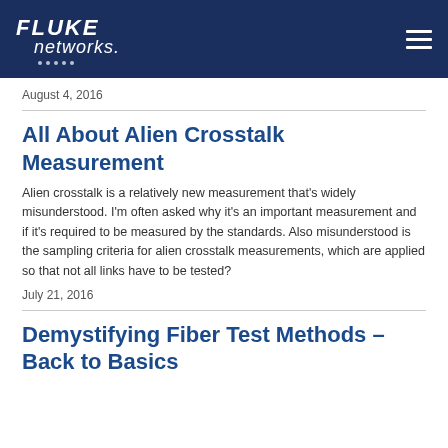Fluke Networks
August 4, 2016
All About Alien Crosstalk Measurement
Alien crosstalk is a relatively new measurement that's widely misunderstood. I'm often asked why it's an important measurement and if it's required to be measured by the standards. Also misunderstood is the sampling criteria for alien crosstalk measurements, which are applied so that not all links have to be tested?
July 21, 2016
Demystifying Fiber Test Methods – Back to Basics